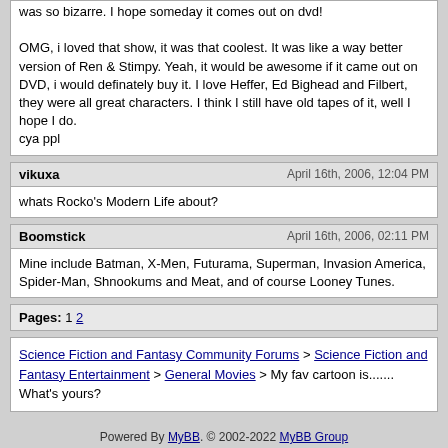was so bizarre. I hope someday it comes out on dvd! OMG, i loved that show, it was that coolest. It was like a way better version of Ren & Stimpy. Yeah, it would be awesome if it came out on DVD, i would definately buy it. I love Heffer, Ed Bighead and Filbert, they were all great characters. I think I still have old tapes of it, well I hope I do. cya ppl
vikuxa — April 16th, 2006, 12:04 PM
whats Rocko's Modern Life about?
Boomstick — April 16th, 2006, 02:11 PM
Mine include Batman, X-Men, Futurama, Superman, Invasion America, Spider-Man, Shnookums and Meat, and of course Looney Tunes.
Pages: 1 2
Science Fiction and Fantasy Community Forums > Science Fiction and Fantasy Entertainment > General Movies > My fav cartoon is....... What's yours?
Powered By MyBB. © 2002-2022 MyBB Group